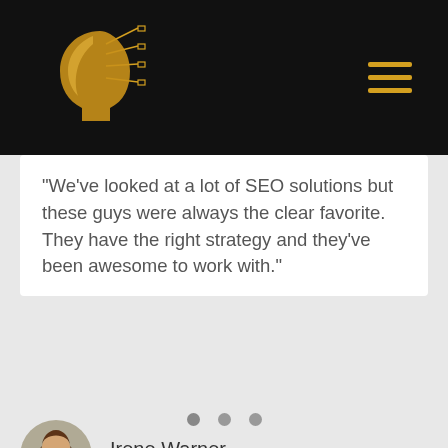[Figure (logo): Golden AI head logo with circuit lines on black header background]
"We've looked at a lot of SEO solutions but these guys were always the clear favorite. They have the right strategy and they've been awesome to work with."
Irene Warner
CEO & Founder
[Figure (illustration): Three carousel indicator dots]